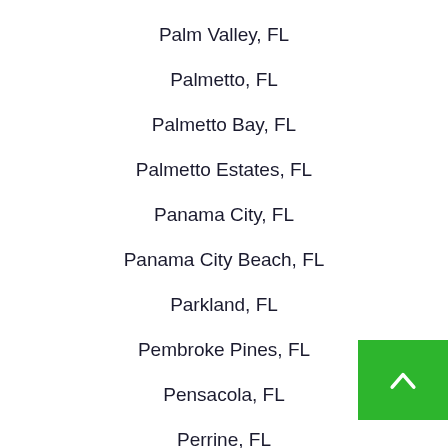Palm Valley, FL
Palmetto, FL
Palmetto Bay, FL
Palmetto Estates, FL
Panama City, FL
Panama City Beach, FL
Parkland, FL
Pembroke Pines, FL
Pensacola, FL
Perrine, FL